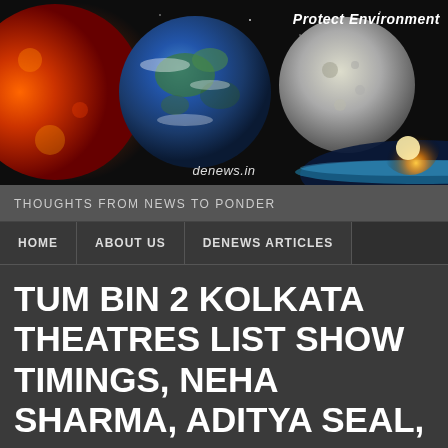[Figure (illustration): Website banner header showing sun, Earth, moon, and planet rise from space against dark background. Text 'Protect Environment' in top right and 'denews.in' at bottom center.]
THOUGHTS FROM NEWS TO PONDER
HOME | ABOUT US | DENEWS ARTICLES
TUM BIN 2 KOLKATA THEATRES LIST SHOW TIMINGS, NEHA SHARMA, ADITYA SEAL, ANUBHAV SINHA